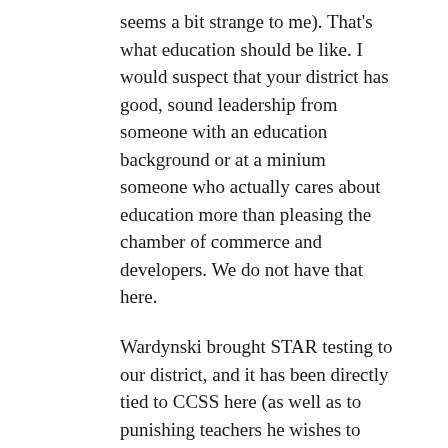seems a bit strange to me). That's what education should be like. I would suspect that your district has good, sound leadership from someone with an education background or at a minium someone who actually cares about education more than pleasing the chamber of commerce and developers. We do not have that here.
Wardynski brought STAR testing to our district, and it has been directly tied to CCSS here (as well as to punishing teachers he wishes to punish.)
I wasn't questioning if teachers